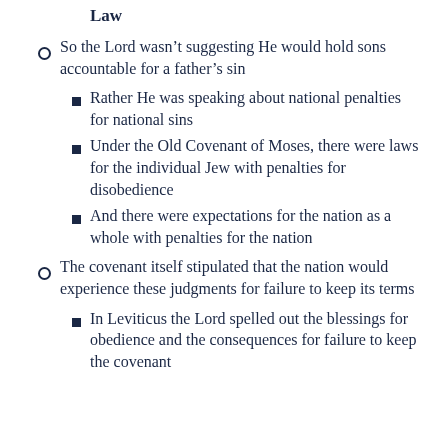Law
So the Lord wasn't suggesting He would hold sons accountable for a father's sin
Rather He was speaking about national penalties for national sins
Under the Old Covenant of Moses, there were laws for the individual Jew with penalties for disobedience
And there were expectations for the nation as a whole with penalties for the nation
The covenant itself stipulated that the nation would experience these judgments for failure to keep its terms
In Leviticus the Lord spelled out the blessings for obedience and the consequences for failure to keep the covenant